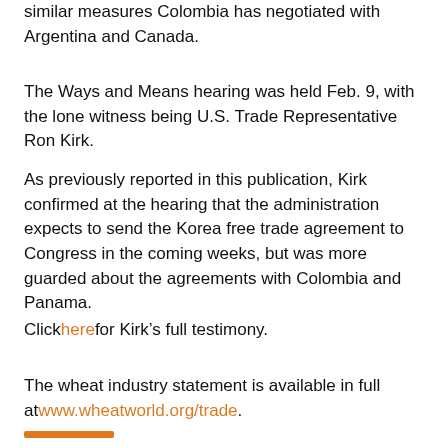similar measures Colombia has negotiated with Argentina and Canada.
The Ways and Means hearing was held Feb. 9, with the lone witness being U.S. Trade Representative Ron Kirk.
As previously reported in this publication, Kirk confirmed at the hearing that the administration expects to send the Korea free trade agreement to Congress in the coming weeks, but was more guarded about the agreements with Colombia and Panama.
Click here for Kirk’s full testimony.
The wheat industry statement is available in full at www.wheatworld.org/trade.